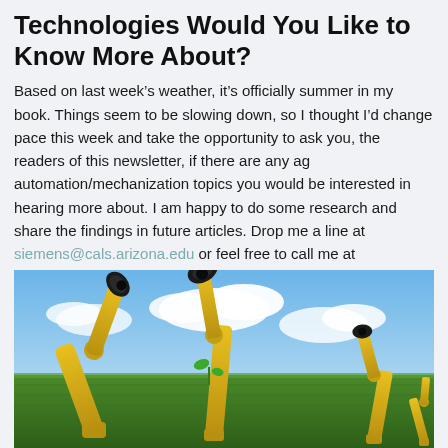Technologies Would You Like to Know More About?
Based on last week's weather, it's officially summer in my book. Things seem to be slowing down, so I thought I'd change pace this week and take the opportunity to ask you, the readers of this newsletter, if there are any ag automation/mechanization topics you would be interested in hearing more about. I am happy to do some research and share the findings in future articles. Drop me a line at siemens@cals.arizona.edu or feel free to call me at 928.782.5869. I'd love to hear from you.
[Figure (photo): Agricultural robots with yellow mechanical arms in a green field under a blue sky with clouds]